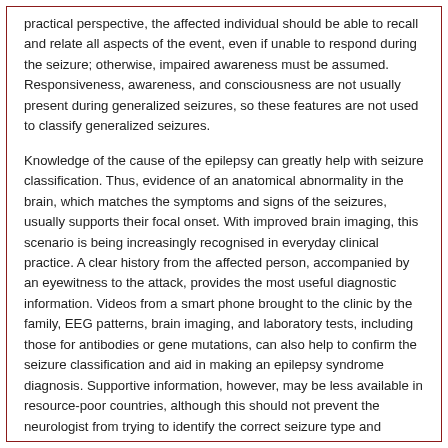practical perspective, the affected individual should be able to recall and relate all aspects of the event, even if unable to respond during the seizure; otherwise, impaired awareness must be assumed. Responsiveness, awareness, and consciousness are not usually present during generalized seizures, so these features are not used to classify generalized seizures.
Knowledge of the cause of the epilepsy can greatly help with seizure classification. Thus, evidence of an anatomical abnormality in the brain, which matches the symptoms and signs of the seizures, usually supports their focal onset. With improved brain imaging, this scenario is being increasingly recognised in everyday clinical practice. A clear history from the affected person, accompanied by an eyewitness to the attack, provides the most useful diagnostic information. Videos from a smart phone brought to the clinic by the family, EEG patterns, brain imaging, and laboratory tests, including those for antibodies or gene mutations, can also help to confirm the seizure classification and aid in making an epilepsy syndrome diagnosis. Supportive information, however, may be less available in resource-poor countries, although this should not prevent the neurologist from trying to identify the correct seizure type and attempting to make the diagnosis of an epilepsy syndrome.
A number of terms have been discarded in this new classification